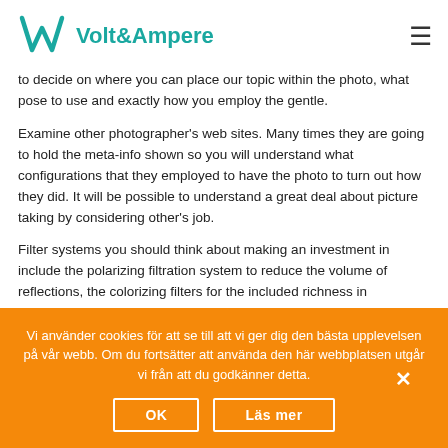Volt&Ampere
to decide on where you can place our topic within the photo, what pose to use and exactly how you employ the gentle.
Examine other photographer's web sites. Many times they are going to hold the meta-info shown so you will understand what configurations that they employed to have the photo to turn out how they did. It will be possible to understand a great deal about picture taking by considering other's job.
Filter systems you should think about making an investment in include the polarizing filtration system to reduce the volume of reflections, the colorizing filters for the included richness in numerous hues, as well as the IR filtration to capture at nighttime. Numerous filtering outcomes can be included once the picture is taken with photograph modifying software.
Vi använder cookies för att se till att vi ger dig den bästa upplevelsen på vår webb. Om du fortsätter att använda den här webbplatsen utgår vi från att du godkänner detta.